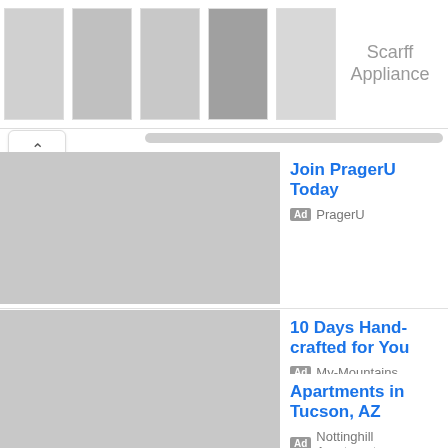[Figure (screenshot): Top banner showing kitchen appliances (ovens, dishwasher, refrigerator) with 'Scarff Appliance' brand name on the right]
Scarff Appliance
Join PragerU Today
Ad PragerU
10 Days Hand-crafted for You
Ad My-Mountains
Apartments in Tucson, AZ
Ad Nottinghill Apartments